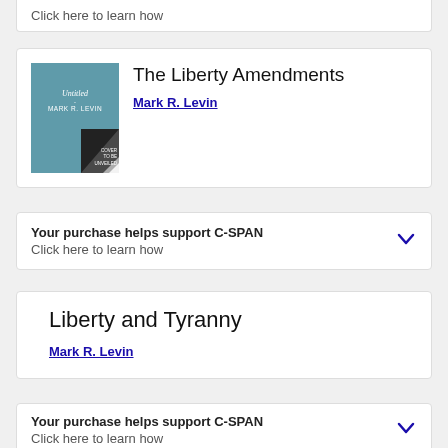Click here to learn how
[Figure (illustration): Book cover for 'The Liberty Amendments' by Mark R. Levin — teal/blue cover with text 'Untitled · Mark R. Levin' and a black corner with 'COVER TO BE UNVEILED' and a white page curl]
The Liberty Amendments
Mark R. Levin
Your purchase helps support C-SPAN
Click here to learn how
Liberty and Tyranny
Mark R. Levin
Your purchase helps support C-SPAN
Click here to learn how